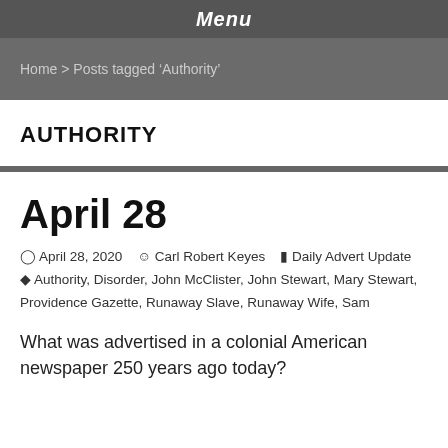Menu
Home > Posts tagged 'Authority'
AUTHORITY
April 28
April 28, 2020   Carl Robert Keyes   Daily Advert Update   Authority, Disorder, John McClister, John Stewart, Mary Stewart, Providence Gazette, Runaway Slave, Runaway Wife, Sam
What was advertised in a colonial American newspaper 250 years ago today?